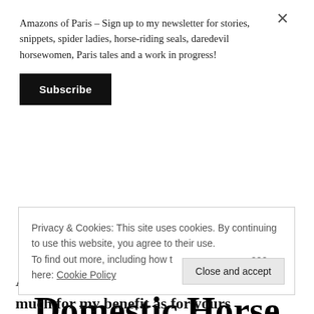Amazons of Paris – Sign up to my newsletter for stories, snippets, spider ladies, horse-riding seals, daredevil horsewomen, Paris tales and a work in progress!
Subscribe
More About Origins of Domestic Horse
Ahem. I am now going to attempt to
Privacy & Cookies: This site uses cookies. By continuing to use this website, you agree to their use.
To find out more, including how to control cookies, see here: Cookie Policy
Close and accept
much for my benefit as for yours